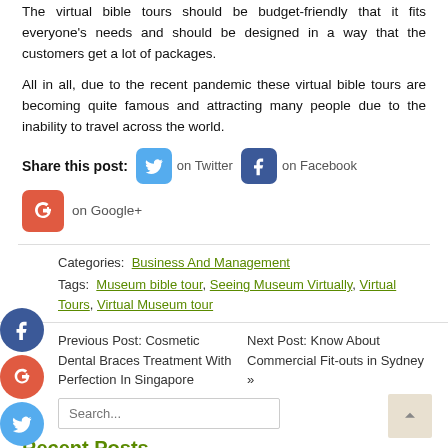The virtual bible tours should be budget-friendly that it fits everyone's needs and should be designed in a way that the customers get a lot of packages.
All in all, due to the recent pandemic these virtual bible tours are becoming quite famous and attracting many people due to the inability to travel across the world.
Share this post: on Twitter on Facebook on Google+
Categories: Business And Management
Tags: Museum bible tour, Seeing Museum Virtually, Virtual Tours, Virtual Museum tour
Previous Post: Cosmetic Dental Braces Treatment With Perfection In Singapore
Next Post: Know About Commercial Fit-outs in Sydney »
Search...
Recent Posts